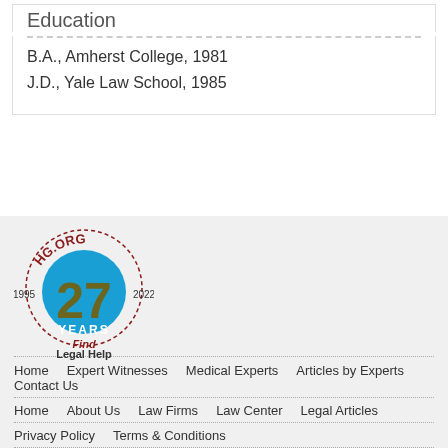Education
B.A., Amherst College, 1981
J.D., Yale Law School, 1985
[Figure (logo): HG.ORG 27 Years logo, 1995-2022, Find Legal Help]
Home | Expert Witnesses | Medical Experts | Articles by Experts | Contact Us | Home | About Us | Law Firms | Law Center | Legal Articles | Privacy Policy | Terms & Conditions